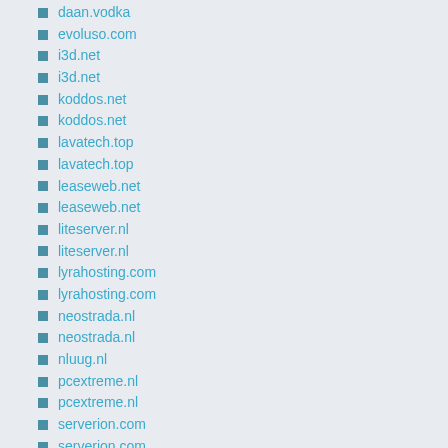daan.vodka
evoluso.com
i3d.net
i3d.net
koddos.net
koddos.net
lavatech.top
lavatech.top
leaseweb.net
leaseweb.net
liteserver.nl
liteserver.nl
lyrahosting.com
lyrahosting.com
neostrada.nl
neostrada.nl
nluug.nl
pcextreme.nl
pcextreme.nl
serverion.com
serverion.com
snt.utwente.nl
tarellia.net
tarellia.net
viflcraft.top